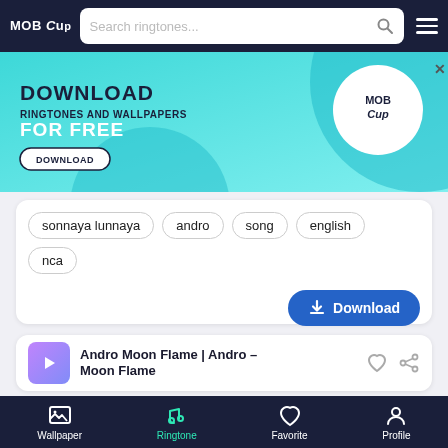MOB CUP - Search ringtones...
[Figure (screenshot): MobCup advertisement banner: DOWNLOAD RINGTONES AND WALLPAPERS FOR FREE with a DOWNLOAD button]
sonnaya lunnaya
andro
song
english
nca
Download
Andro Moon Flame | Andro – Moon Flame
[Figure (screenshot): MobCup advertisement banner (bottom): DOWNLOAD RINGTONES AND WALLPAPERS FOR FREE with a DOWNLOAD button]
Wallpaper  Ringtone  Favorite  Profile